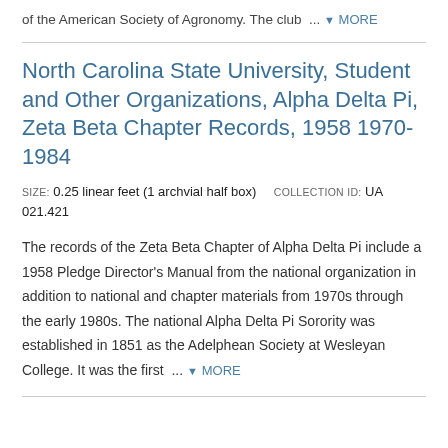of the American Society of Agronomy. The club … ▾ MORE
North Carolina State University, Student and Other Organizations, Alpha Delta Pi, Zeta Beta Chapter Records, 1958 1970-1984
SIZE: 0.25 linear feet (1 archvial half box)   COLLECTION ID: UA 021.421
The records of the Zeta Beta Chapter of Alpha Delta Pi include a 1958 Pledge Director's Manual from the national organization in addition to national and chapter materials from 1970s through the early 1980s. The national Alpha Delta Pi Sorority was established in 1851 as the Adelphean Society at Wesleyan College. It was the first … ▾ MORE